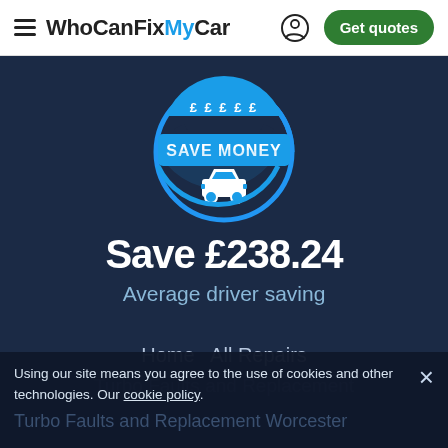WhoCanFixMyCar — Get quotes
[Figure (logo): Circular badge with car icon and text SAVE MONEY, £££££ symbols around top, blue color scheme]
Save £238.24
Average driver saving
Home   All Repairs
Turbo Faults and Replacement
Turbo Faults and Replacement Worcester
Using our site means you agree to the use of cookies and other technologies. Our cookie policy.